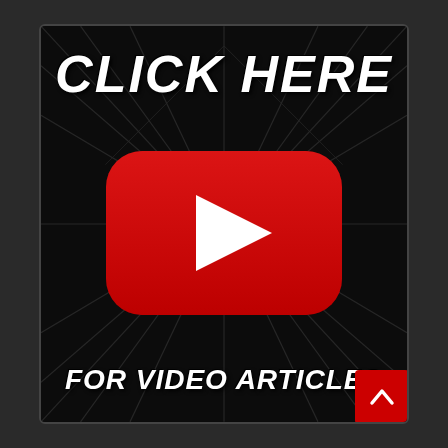[Figure (illustration): YouTube-style promotional graphic on dark background. A dark card with radiating geometric lines contains bold italic white text 'CLICK HERE' at top, a large red YouTube play button logo in the center, and bold italic white text 'FOR VIDEO ARTICLES' at the bottom. A small red square with an upward arrow chevron is in the bottom-right corner of the card.]